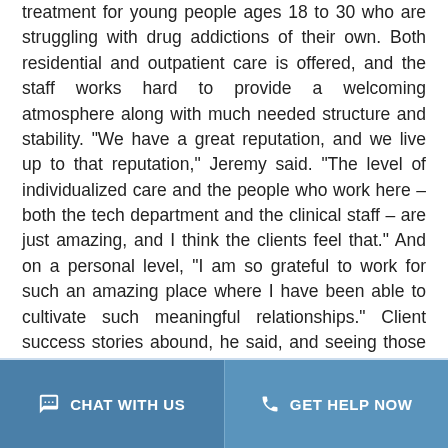treatment for young people ages 18 to 30 who are struggling with drug addictions of their own. Both residential and outpatient care is offered, and the staff works hard to provide a welcoming atmosphere along with much needed structure and stability. "We have a great reputation, and we live up to that reputation," Jeremy said. "The level of individualized care and the people who work here – both the tech department and the clinical staff – are just amazing, and I think the clients feel that." And on a personal level, "I am so grateful to work for such an amazing place where I have been able to cultivate such meaningful relationships." Client success stories abound, he said, and seeing those successes maintained is one of the most rewarding parts of his job. "I am with them in the beginning when they come in so sick and broken. It is such a joy when they come by months later, looking so full of life."
CHAT WITH US   GET HELP NOW